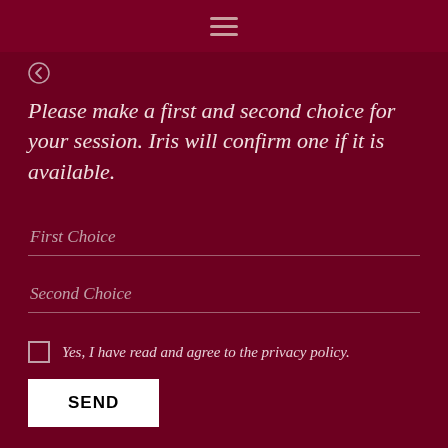Please make a first and second choice for your session. Iris will confirm one if it is available.
First Choice
Second Choice
Yes, I have read and agree to the privacy policy.
SEND